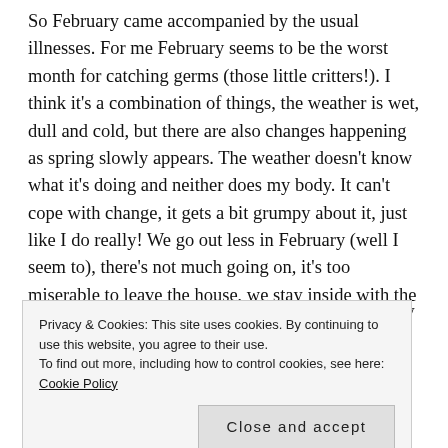So February came accompanied by the usual illnesses. For me February seems to be the worst month for catching germs (those little critters!). I think it's a combination of things, the weather is wet, dull and cold, but there are also changes happening as spring slowly appears. The weather doesn't know what it's doing and neither does my body. It can't cope with change, it gets a bit grumpy about it, just like I do really! We go out less in February (well I seem to), there's not much going on, it's too miserable to leave the house, we stay inside with the heating on and the germs having a fab time multiplying.
It all started with a sore throat. which is generally the
Privacy & Cookies: This site uses cookies. By continuing to use this website, you agree to their use.
To find out more, including how to control cookies, see here: Cookie Policy
Close and accept
imagine. I sound more feeble than a cat. Not being able to